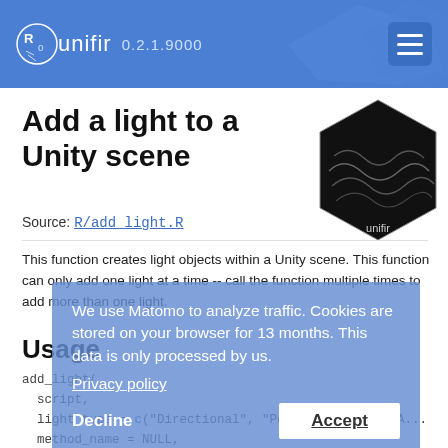unifir 0.2.1.9000
Add a light to a Unity scene
Source: R/add_light.R
This function creates light objects within a Unity scene. This function can only add one light at a time -- call the function multiple times to add more than one light.
Usage
add_light(
  script,
  light_type = c("Directional", "Point", "Spot", "A..."),
  method_name = NULL,
  light_name = "Light",
We use Matomo to analyze traffic. Cookies are stored on your browser for 13 months. This data is only processed by us.
Privacy policy
Decline  Accept